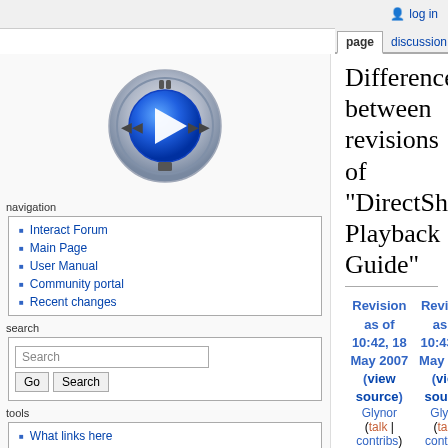log in
page | discussion | view source | history
[Figure (logo): MediaPlayer/DirectShow logo — blue play button on metallic circular control]
Interact Forum
Main Page
User Manual
Community portal
Recent changes
What links here
Related changes
Special pages
Printable version
Difference between revisions of "DirectShow Playback Guide"
| Revision as of 10:42, 18 May 2007 (view source) | Revision as of 10:43, 18 May 2007 (view source) |
| --- | --- |
| Glynor (talk | contribs) | Glynor (talk | contribs) |
| (→CCCP - Combined Community Codec Pack) | (→CCCP - Combined Community Codec Pack) |
| ← Older edit | Newer edit → |
Line 110:
Line 110:
[[Image:Cccp configuration-page1.jpg|thumb|rig
[[Image:Cccp configuration-page1.jpg|thumb|rig